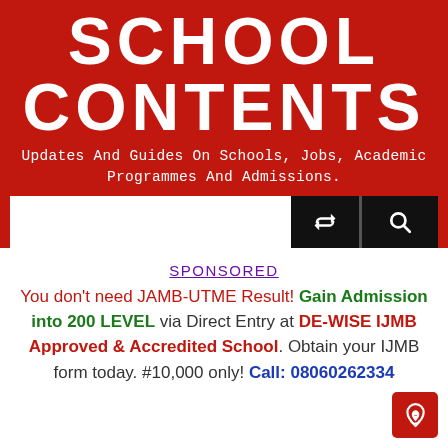SCHOOL CONTENTS
Updates And Guides On Schools, Jobs, Academic Programmes And Admissions.
SPONSORED
You don't need JAMB-UTME Result! Gain Admission into 200 LEVEL via Direct Entry at DE-WISE IJMB Approved & Accredited School. Obtain your IJMB form today. #10,000 only! Call: 08060262334